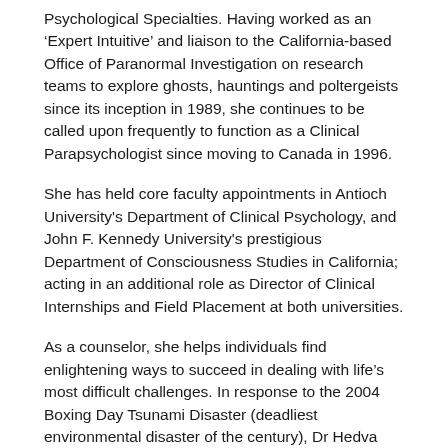Psychological Specialties. Having worked as an 'Expert Intuitive' and liaison to the California-based Office of Paranormal Investigation on research teams to explore ghosts, hauntings and poltergeists since its inception in 1989, she continues to be called upon frequently to function as a Clinical Parapsychologist since moving to Canada in 1996.
She has held core faculty appointments in Antioch University's Department of Clinical Psychology, and John F. Kennedy University's prestigious Department of Consciousness Studies in California; acting in an additional role as Director of Clinical Internships and Field Placement at both universities.
As a counselor, she helps individuals find enlightening ways to succeed in dealing with life's most difficult challenges. In response to the 2004 Boxing Day Tsunami Disaster (deadliest environmental disaster of the century), Dr Hedva was invited by the Indonesian Psychology Association to up-grade the training of psychologists and volunteer recovery workers. She was invited to to present her work on the disaster recovery program in Indonesia at United Nations in New York. She joined United